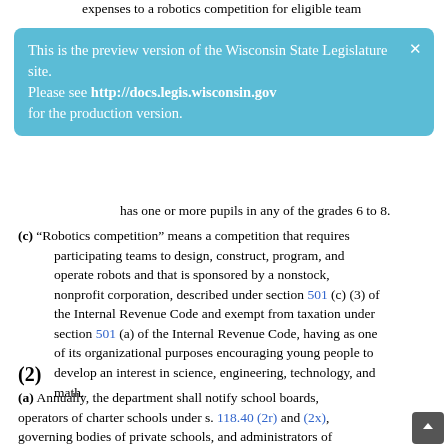expenses to a robotics competition for eligible team
This is the preview version of the Wisconsin State Legislature site. Please see http://docs.legis.wisconsin.gov for the production version.
has one or more pupils in any of the grades 6 to 8.
(c) “Robotics competition” means a competition that requires participating teams to design, construct, program, and operate robots and that is sponsored by a nonstock, nonprofit corporation, described under section 501 (c) (3) of the Internal Revenue Code and exempt from taxation under section 501 (a) of the Internal Revenue Code, having as one of its organizational purposes encouraging young people to develop an interest in science, engineering, technology, and math.
(2)
(a) Annually, the department shall notify school boards, operators of charter schools under s. 118.40 (2r) and (2x), governing bodies of private schools, and administrators of home-based private educational programs that applications for grants to participate in one or more robotics competitions will be accepted from eligible teams through a date set forth in the notice. As a condition of receiving a grant under this section, an applicant eligible team shall